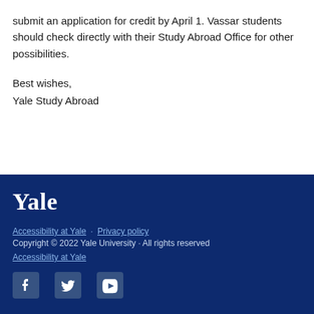submit an application for credit by April 1.  Vassar students should check directly with their Study Abroad Office for other possibilities.
Best wishes,
Yale Study Abroad
Yale
Accessibility at Yale · Privacy policy
Copyright © 2022 Yale University · All rights reserved
Accessibility at Yale